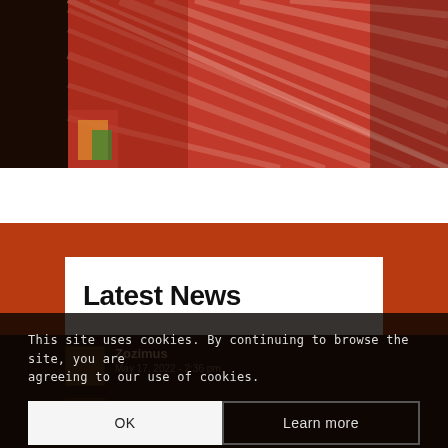[Figure (photo): Partial photo showing red and white striped fabric/clothing with colorful items in the background, cropped at top of page]
Latest News
Zozimus
May 17, 2022 - 2:36 pm
Staff M...
May 17, 2022 - ... am
This site uses cookies. By continuing to browse the site, you are agreeing to our use of cookies.